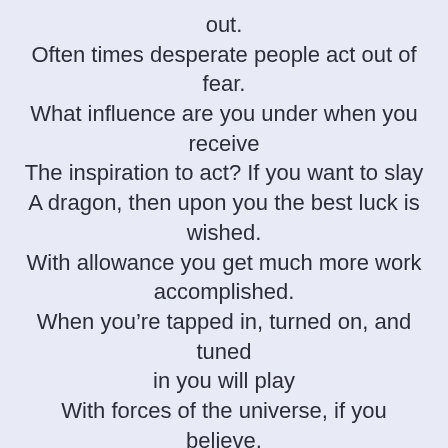out.
Often times desperate people act out of fear.
What influence are you under when you receive
The inspiration to act? If you want to slay
A dragon, then upon you the best luck is wished.
With allowance you get much more work accomplished.
When you’re tapped in, turned on, and tuned in you will play
With forces of the universe, if you believe.
Just make sure you’re under the influence of Source,
Which means your inner being, when you are